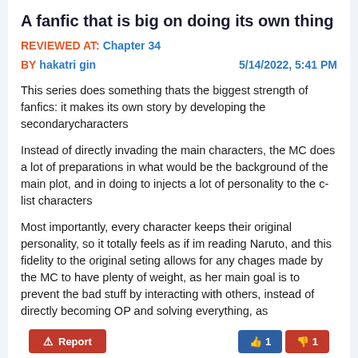A fanfic that is big on doing its own thing
REVIEWED AT: Chapter 34
BY hakatri gin   5/14/2022, 5:41 PM
This series does something thats the biggest strength of fanfics: it makes its own story by developing the secondarycharacters
Instead of directly invading the main characters, the MC does a lot of preparations in what would be the background of the main plot, and in doing to injects a lot of personality to the c-list characters
Most importantly, every character keeps their original personality, so it totally feels as if im reading Naruto, and this fidelity to the original seting allows for any chages made by the MC to have plenty of weight, as her main goal is to prevent the bad stuff by interacting with others, instead of directly becoming OP and solving everything, as
SHOW MORE